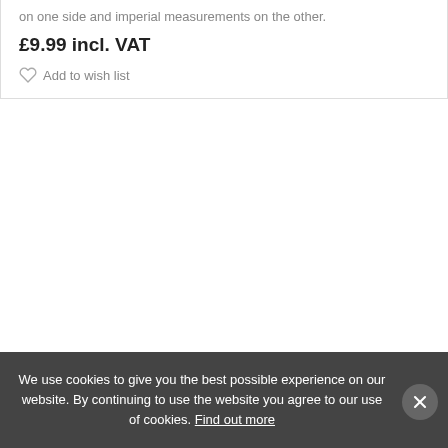on one side and imperial measurements on the other.
£9.99 incl. VAT
Add to wish list
We use cookies to give you the best possible experience on our website. By continuing to use the website you agree to our use of cookies. Find out more